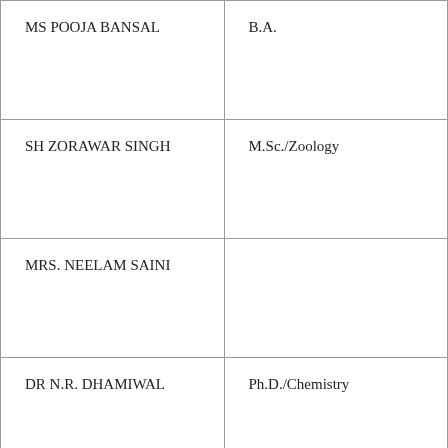| MS POOJA BANSAL | B.A. |
| SH ZORAWAR SINGH | M.Sc./Zoology |
| MRS. NEELAM SAINI |  |
| DR N.R. DHAMIWAL | Ph.D./Chemistry |
| SH KEWAL KRISHAN |  |